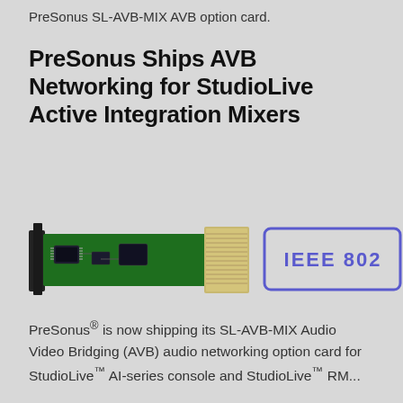PreSonus SL-AVB-MIX AVB option card.
PreSonus Ships AVB Networking for StudioLive Active Integration Mixers
[Figure (photo): Photo of a green PCB circuit board (SL-AVB-MIX card) shown at an angle, with a large connector and chips visible. To its right, partially visible, is a badge with blue border and IEEE 802 text.]
PreSonus® is now shipping its SL-AVB-MIX Audio Video Bridging (AVB) audio networking option card for StudioLive™ AI-series console and StudioLive™ RM...